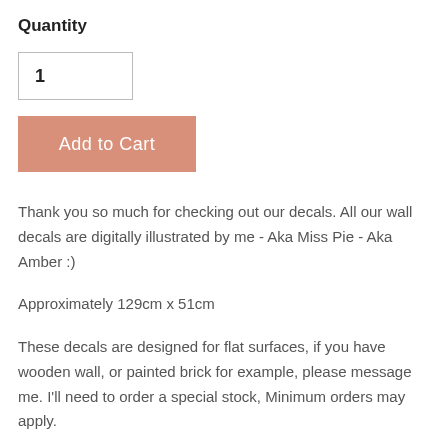Quantity
1
Add to Cart
Thank you so much for checking out our decals. All our wall decals are digitally illustrated by me - Aka Miss Pie - Aka Amber :)
Approximately 129cm x 51cm
These decals are designed for flat surfaces, if you have wooden wall, or painted brick for example, please message me. I'll need to order a special stock, Minimum orders may apply.
Our wall stickers are Australian-made and printed with water-based inks on a toxin-free fabric with a removable, gum-like adhesive that won't damage your wall on removal!